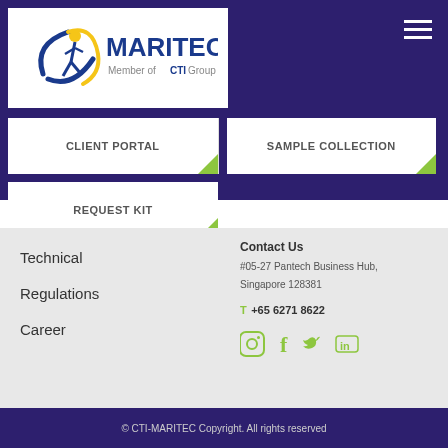[Figure (logo): MARITEC logo with CTI Group text on white background]
CLIENT PORTAL
SAMPLE COLLECTION
REQUEST KIT
Technical
Regulations
Career
Contact Us
#05-27 Pantech Business Hub, Singapore 128381
T +65 6271 8622
© CTI-MARITEC Copyright. All rights reserved